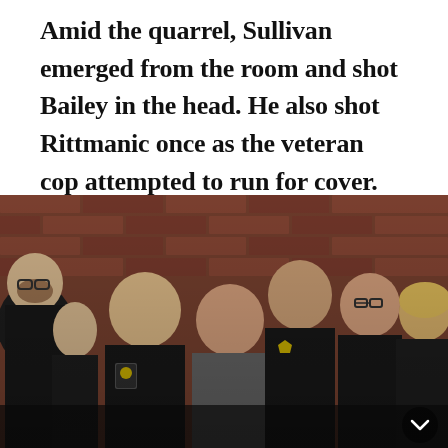Amid the quarrel, Sullivan emerged from the room and shot Bailey in the head. He also shot Rittmanic once as the veteran cop attempted to run for cover.
[Figure (photo): A line of police officers and law enforcement personnel standing solemnly in front of a red brick wall. Several are in dark police uniforms with badges and tactical gear. One person in the center wears a gray jacket. All appear to be at a somber event or memorial. A small circular chevron/scroll button is visible in the lower right corner.]